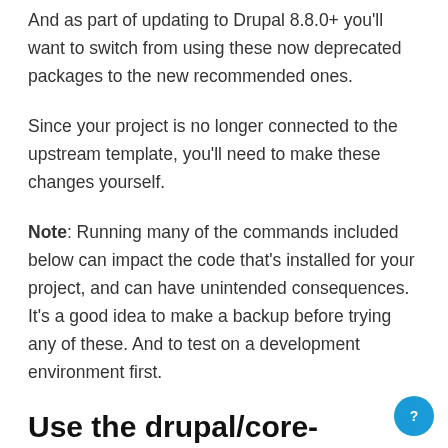And as part of updating to Drupal 8.8.0+ you'll want to switch from using these now deprecated packages to the new recommended ones.
Since your project is no longer connected to the upstream template, you'll need to make these changes yourself.
Note: Running many of the commands included below can impact the code that's installed for your project, and can have unintended consequences. It's a good idea to make a backup before trying any of these. And to test on a development environment first.
Use the drupal/core-recommended meta package